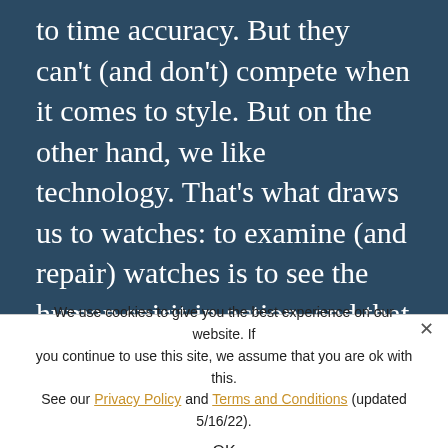to time accuracy. But they can't (and don't) compete when it comes to style. But on the other hand, we like technology. That's what draws us to watches: to examine (and repair) watches is to see the human spirit in action, and that synergy between style and substance, between tradition and modernity, between old and new.

Which brings us to WordPress. We've finally made our transition to WordPress, and we're really really excited.  WordPress (in case you didn't know) is the
We use cookies to give you the best experience on our website. If you continue to use this site, we assume that you are ok with this. See our Privacy Policy and Terms and Conditions (updated 5/16/22).
OK